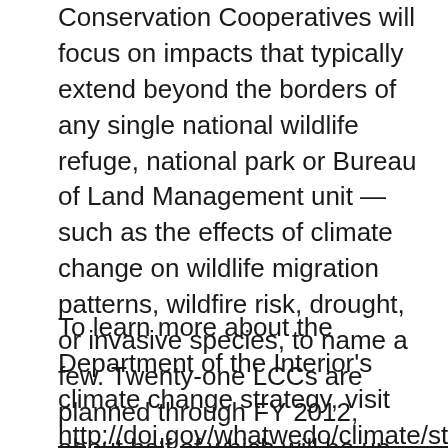Conservation Cooperatives will focus on impacts that typically extend beyond the borders of any single national wildlife refuge, national park or Bureau of Land Management unit — such as the effects of climate change on wildlife migration patterns, wildfire risk, drought, or invasive species, to name a few. Twenty-one LCCs are planned through FY 2012, about half of which will be up and running by the end of 2010.
To learn more about the Department of the Interior's climate change strategy, visit http://doi.gov/whatwedo/climate/strategy/index.cfm This site features interactive maps of Climate Science Centers and Landscape Conservation